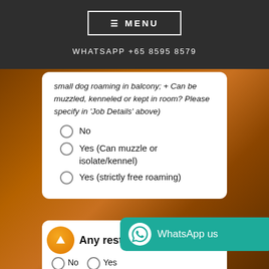≡ MENU
WHATSAPP +65 8595 8579
small dog roaming in balcony; + Can be muzzled, kenneled or kept in room? Please specify in 'Job Details' above)
No
Yes (Can muzzle or isolate/kennel)
Yes (strictly free roaming)
Any restri
No   Yes
[Figure (screenshot): WhatsApp us button overlay with teal background and WhatsApp icon]